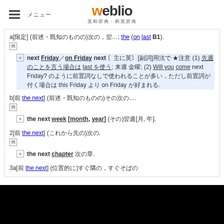weblio 英和辞典・和英辞典
a[限定] (前述・既知のものの)次の，翌…; the (on last B1). 例
next Friday／on Friday next 〘主に英〙[副詞]用法で ★注意 (1) 先週のことを言う場合は last を使う; 来週 金曜; (2) Will you come next Friday? のように前置詞なしで使われることが多い，ただし前置詞が付く場合は this Friday より on Friday が好まれる.
b[前 the next] (前述・既知のものの)その次の….
例
the next week [month, year] (その)翌週[月, 年].
2[前 the next] (これから先の)次の.
例
the next chapter 次の章.
3a[前 the next] (位置的に)すぐ隣の，すぐそばの